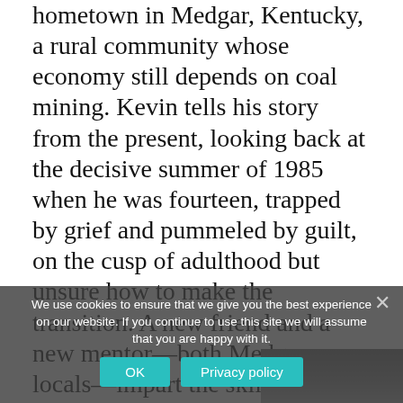hometown in Medgar, Kentucky, a rural community whose economy still depends on coal mining. Kevin tells his story from the present, looking back at the decisive summer of 1985 when he was fourteen, trapped by grief and pummeled by guilt, on the cusp of adulthood but unsure how to make the transition. A new friend and a new mentor—both Medgar locals—impart the skills that help him navigate the difficult course to manhood: Buzzy Fink, the younger brother of the high school's star quarterback, teaches Kevin the local lore; Kevin's grandfather, Arthur Peebles, teaches him everything else. Kevin wants nothing more than to spend his days romping in the woods with Buzzy and his evenings on his grandfather's porch, serving the old timers sour-mash whiskey and listening to tales going back to World War II.
We use cookies to ensure that we give you the best experience on our website. If you continue to use this site we will assume that you are happy with it.
OK   Privacy policy